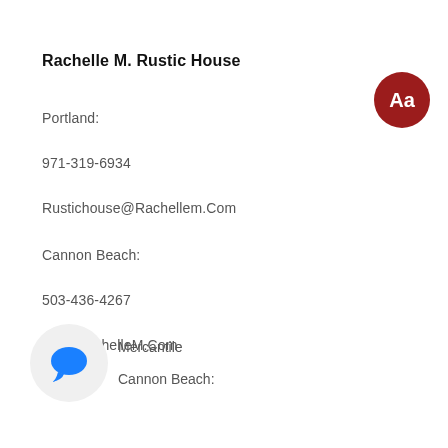Rachelle M. Rustic House
Portland:
971-319-6934
Rustichouse@Rachellem.Com
Cannon Beach:
503-436-4267
CB@RachelleM.Com
Mercantile
Cannon Beach: